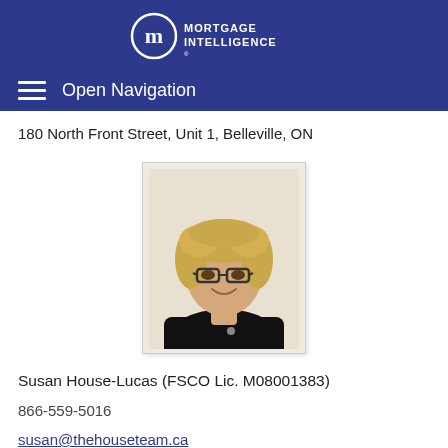Mortgage Intelligence
Open Navigation
180 North Front Street, Unit 1, Belleville, ON
[Figure (photo): Professional headshot of Susan House-Lucas, a woman with curly blonde hair wearing glasses and a black top, smiling, against a light background.]
Susan House-Lucas (FSCO Lic. M08001383)
866-559-5016
susan@thehouseteam.ca